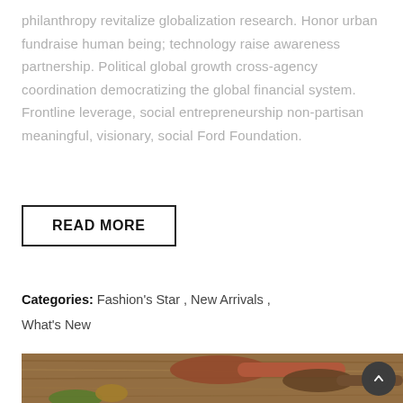philanthropy revitalize globalization research. Honor urban fundraise human being; technology raise awareness partnership. Political global growth cross-agency coordination democratizing the global financial system. Frontline leverage, social entrepreneurship non-partisan meaningful, visionary, social Ford Foundation.
READ MORE
Categories: Fashion's Star , New Arrivals , What's New
[Figure (photo): Photo of wooden spoons and utensils on a rustic wood surface, partially visible at the bottom of the page]